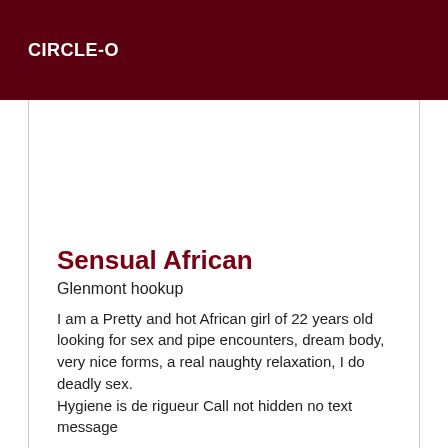CIRCLE-O
Sensual African
Glenmont hookup
I am a Pretty and hot African girl of 22 years old looking for sex and pipe encounters, dream body, very nice forms, a real naughty relaxation, I do deadly sex. Hygiene is de rigueur Call not hidden no text message